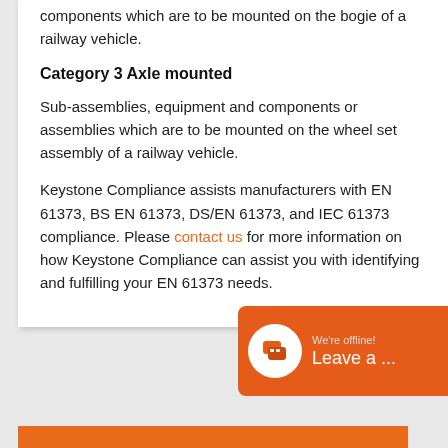components which are to be mounted on the bogie of a railway vehicle.
Category 3 Axle mounted
Sub-assemblies, equipment and components or assemblies which are to be mounted on the wheel set assembly of a railway vehicle.
Keystone Compliance assists manufacturers with EN 61373, BS EN 61373, DS/EN 61373, and IEC 61373 compliance. Please contact us for more information on how Keystone Compliance can assist you with identifying and fulfilling your EN 61373 needs.
[Figure (other): Live chat widget showing offline status with message icon and 'Leave a ...' text]
[Figure (other): Orange bar at the bottom of the page]